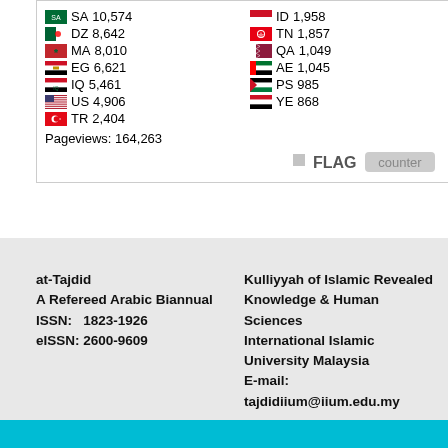[Figure (infographic): Flag counter widget showing country codes with flags and pageview counts. SA 10,574; DZ 8,642; MA 8,010; EG 6,621; IQ 5,461; US 4,906; TR 2,404; ID 1,958; TN 1,857; QA 1,049; AE 1,045; PS 985; YE 868. Pageviews: 164,263. FLAG counter logo at bottom right.]
Arab Impact Factor
at-Tajdid
A Refereed Arabic Biannual
ISSN:   1823-1926
eISSN:  2600-9609
Kulliyyah of Islamic Revealed Knowledge & Human Sciences
International Islamic University Malaysia
E-mail: tajdidiium@iium.edu.my